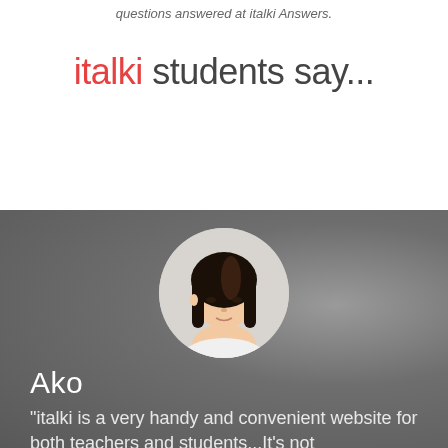questions answered at italki Answers.
italki students say...
[Figure (photo): Circular portrait photo of a young Asian woman named Ako with dark shoulder-length hair, wearing a white top, set against a blurred grey background.]
Ako
"italki is a very handy and convenient website for both teachers and students...It's not